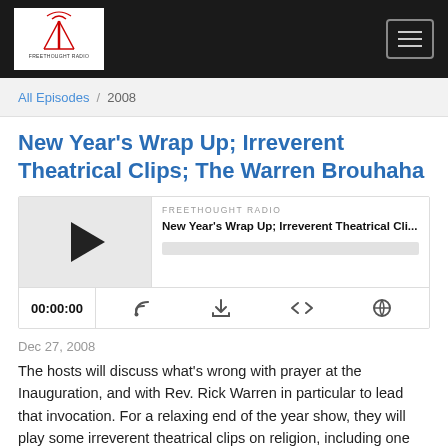[Figure (logo): Freethought Radio logo with antenna/broadcast tower icon on white background in black navigation bar]
Freethought Radio navigation bar with hamburger menu
All Episodes / 2008
New Year's Wrap Up; Irreverent Theatrical Clips; The Warren Brouhaha
[Figure (screenshot): Audio player widget for Freethought Radio episode 'New Year's Wrap Up; Irreverent Theatrical Cli...' with play button, progress bar, time display 00:00:00, and control icons for RSS, download, embed, and share]
Dec 27, 2008
The hosts will discuss what's wrong with prayer at the Inauguration, and with Rev. Rick Warren in particular to lead that invocation. For a relaxing end of the year show, they will play some irreverent theatrical clips on religion, including one comedic jibe at homophobic religion, and end the show with a nod to...